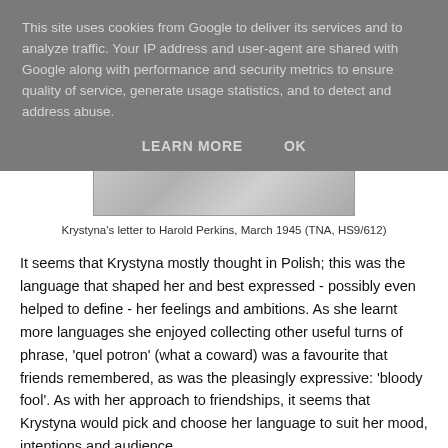This site uses cookies from Google to deliver its services and to analyze traffic. Your IP address and user-agent are shared with Google along with performance and security metrics to ensure quality of service, generate usage statistics, and to detect and address abuse.
LEARN MORE    OK
[Figure (photo): Partial view of a handwritten letter or document, showing aged paper with handwriting.]
Krystyna's letter to Harold Perkins, March 1945 (TNA, HS9/612)
It seems that Krystyna mostly thought in Polish; this was the language that shaped her and best expressed - possibly even helped to define - her feelings and ambitions. As she learnt more languages she enjoyed collecting other useful turns of phrase, 'quel potron' (what a coward) was a favourite that friends remembered, as was the pleasingly expressive: 'bloody fool'. As with her approach to friendships, it seems that Krystyna would pick and choose her language to suit her mood, intentions and audience.
Wherever I was researching, I tried to get to the truth of this